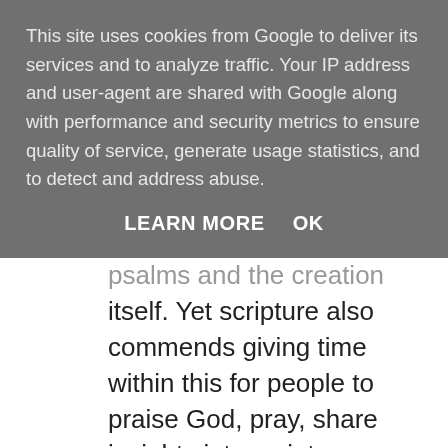This site uses cookies from Google to deliver its services and to analyze traffic. Your IP address and user-agent are shared with Google along with performance and security metrics to ensure quality of service, generate usage statistics, and to detect and address abuse.
LEARN MORE    OK
psalms and the creation itself. Yet scripture also commends giving time within this for people to praise God, pray, share insights into scripture, or ask questions as the Spirit moves them (1 Cor 14v26-35).